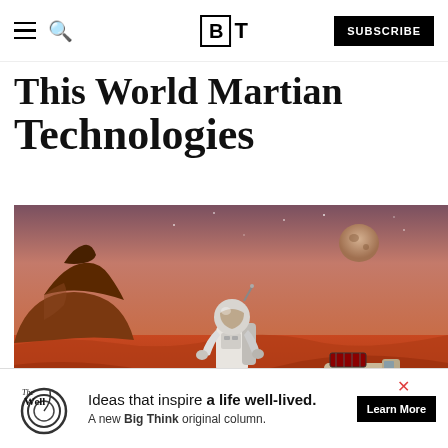Big Think — Subscribe
This World Martian Technologies
[Figure (illustration): Artist rendering of an astronaut in a white spacesuit standing on the red Martian surface with rocky terrain and a butte in the background, a moon or planet visible in the sky, and a Mars rover vehicle to the right.]
[Figure (advertisement): The Well advertisement banner: 'Ideas that inspire a life well-lived. A new Big Think original column.' with Learn More button.]